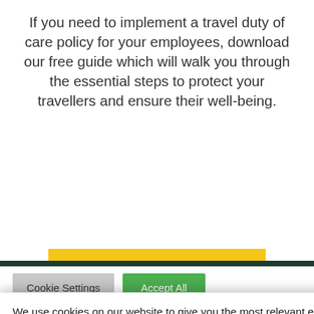If you need to implement a travel duty of care policy for your employees, download our free guide which will walk you through the essential steps to protect your travellers and ensure their well-being.
[Figure (other): Yellow 'FIND OUT MORE' button with right arrow]
We use cookies on our website to give you the most relevant experience by remembering your preferences and repeat visits. By clicking "Accept All", you consent to the use of ALL the cookies. However, you may visit "Cookie Settings" to provide a controlled consent.
[Figure (other): Cookie settings button (grey) and Accept All button (green)]
[Figure (other): Dark green footer bar with social media icons and a play button]